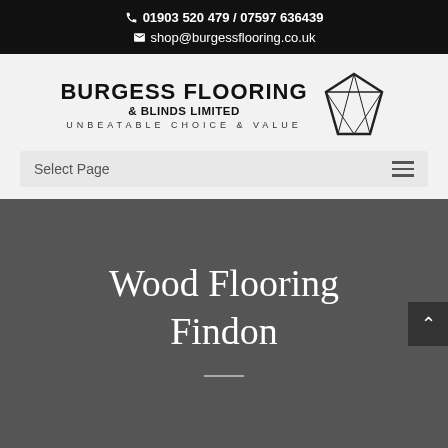01903 520 479 / 07597 636439
shop@burgessflooring.co.uk
[Figure (logo): Burgess Flooring & Blinds Limited logo with diamond shape and tagline 'UNBEATABLE CHOICE & VALUE']
Select Page
Wood Flooring Findon